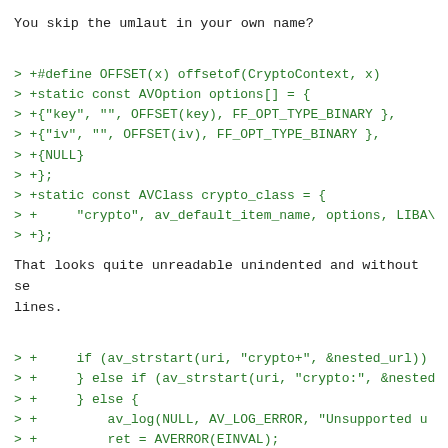You skip the umlaut in your own name?
> +#define OFFSET(x) offsetof(CryptoContext, x)
> +static const AVOption options[] = {
> +{"key", "", OFFSET(key), FF_OPT_TYPE_BINARY },
> +{"iv", "", OFFSET(iv), FF_OPT_TYPE_BINARY },
> +{NULL}
> +};
> +static const AVClass crypto_class = {
> +     "crypto", av_default_item_name, options, LIBAV
> +};
That looks quite unreadable unindented and without se
lines.
> +     if (av_strstart(uri, "crypto+", &nested_url))
> +     } else if (av_strstart(uri, "crypto:", &nested
> +     } else {
> +         av_log(NULL, AV_LOG_ERROR, "Unsupported u
> +         ret = AVERROR(EINVAL);
> +         goto err;
> +     }
Two empty if blocks?
> +         c->outptr += size;
> +         c->outdata -= size;
extra good alignment karma awaits here
> +   c->outdata = BLOCKSIZE * blocks;